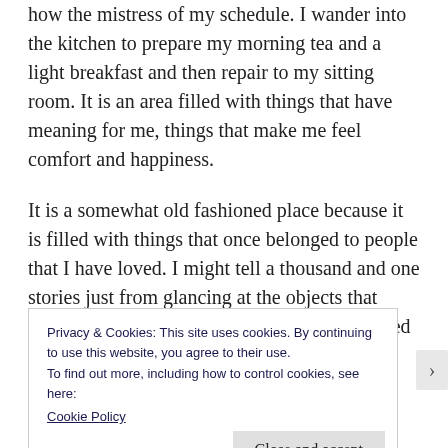how the mistress of my schedule. I wander into the kitchen to prepare my morning tea and a light breakfast and then repair to my sitting room. It is an area filled with things that have meaning for me, things that make me feel comfort and happiness.
It is a somewhat old fashioned place because it is filled with things that once belonged to people that I have loved. I might tell a thousand and one stories just from glancing at the objects that decorate every inch if the space. It is dominated by an art print that once hung in my mother's home. She and my dad chose it when I was
Privacy & Cookies: This site uses cookies. By continuing to use this website, you agree to their use.
To find out more, including how to control cookies, see here:
Cookie Policy
Close and accept